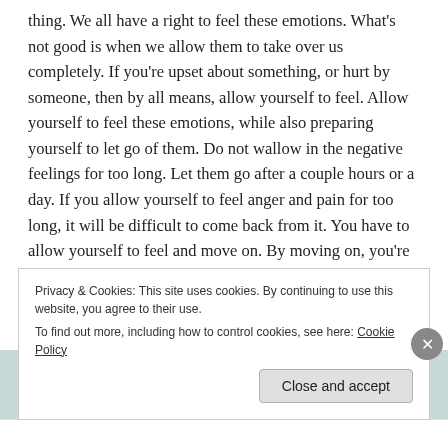thing. We all have a right to feel these emotions. What's not good is when we allow them to take over us completely. If you're upset about something, or hurt by someone, then by all means, allow yourself to feel. Allow yourself to feel these emotions, while also preparing yourself to let go of them. Do not wallow in the negative feelings for too long. Let them go after a couple hours or a day. If you allow yourself to feel anger and pain for too long, it will be difficult to come back from it. You have to allow yourself to feel and move on. By moving on, you're letting yourself go through different stages and I'm pretty sure once you're at the relaxed and content state, you won't want to go back to the negative emotion anymore...
Privacy & Cookies: This site uses cookies. By continuing to use this website, you agree to their use.
To find out more, including how to control cookies, see here: Cookie Policy